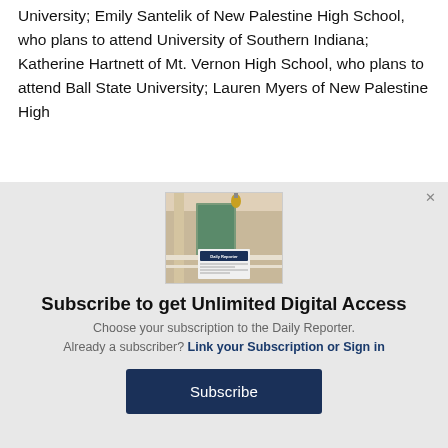University; Emily Santelik of New Palestine High School, who plans to attend University of Southern Indiana; Katherine Hartnett of Mt. Vernon High School, who plans to attend Ball State University; Lauren Myers of New Palestine High
[Figure (photo): A newspaper (Daily Reporter) displayed on a porch railing with a house exterior in the background.]
Subscribe to get Unlimited Digital Access
Choose your subscription to the Daily Reporter. Already a subscriber? Link your Subscription or Sign in
Subscribe